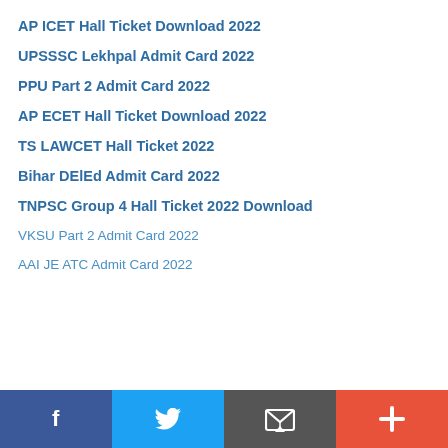AP ICET Hall Ticket Download 2022
UPSSSC Lekhpal Admit Card 2022
PPU Part 2 Admit Card 2022
AP ECET Hall Ticket Download 2022
TS LAWCET Hall Ticket 2022
Bihar DElEd Admit Card 2022
TNPSC Group 4 Hall Ticket 2022 Download
VKSU Part 2 Admit Card 2022
AAI JE ATC Admit Card 2022
[Figure (infographic): Social share bar with four buttons: Facebook (dark blue), Twitter (light blue), Email/envelope (dark grey), Plus/more (orange-red)]